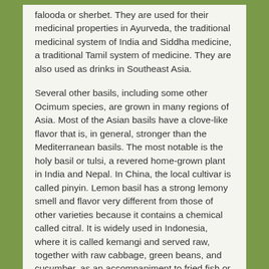falooda or sherbet. They are used for their medicinal properties in Ayurveda, the traditional medicinal system of India and Siddha medicine, a traditional Tamil system of medicine. They are also used as drinks in Southeast Asia.
Several other basils, including some other Ocimum species, are grown in many regions of Asia. Most of the Asian basils have a clove-like flavor that is, in general, stronger than the Mediterranean basils. The most notable is the holy basil or tulsi, a revered home-grown plant in India and Nepal. In China, the local cultivar is called pinyin. Lemon basil has a strong lemony smell and flavor very different from those of other varieties because it contains a chemical called citral. It is widely used in Indonesia, where it is called kemangi and served raw, together with raw cabbage, green beans, and cucumber, as an accompaniment to fried fish or duck. Its flowers, when broken up, are a zesty salad condiment.